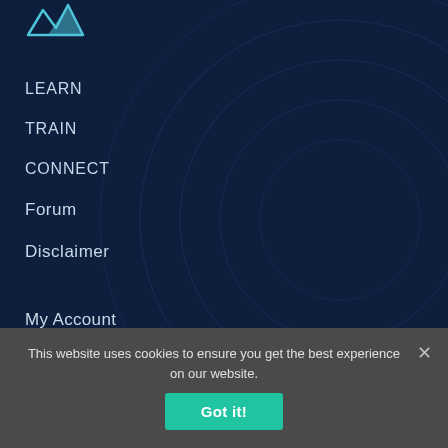[Figure (logo): Website logo with mountain/wave icon at top left]
LEARN
TRAIN
CONNECT
Forum
Disclaimer
My Account
Sign Up with a Coach
This website uses cookies to ensure you get the best experience on our website.
Got it!